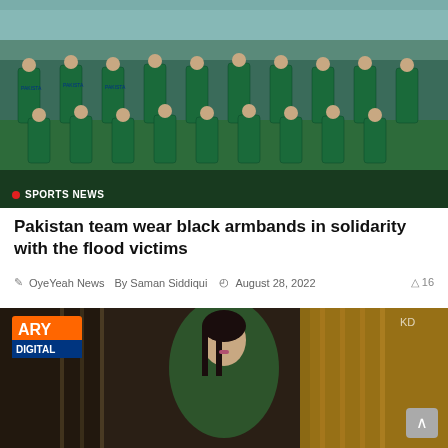[Figure (photo): Pakistan cricket team in green uniforms posing for a group photo on a cricket field, with players standing and sitting in rows]
SPORTS NEWS
Pakistan team wear black armbands in solidarity with the flood victims
OyeYeah News  By Saman Siddiqui  August 28, 2022  16
[Figure (photo): Woman in green dress, ARY Digital drama scene, sitting in ornate interior setting with gold curtains]